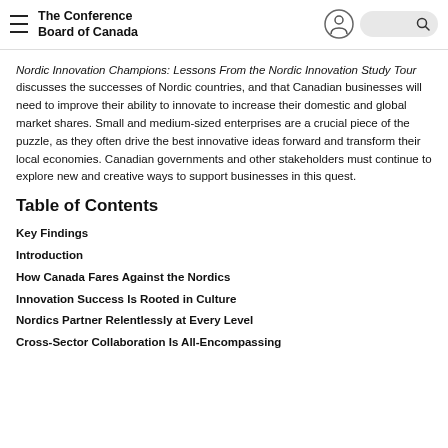The Conference Board of Canada
Nordic Innovation Champions: Lessons From the Nordic Innovation Study Tour discusses the successes of Nordic countries, and that Canadian businesses will need to improve their ability to innovate to increase their domestic and global market shares. Small and medium-sized enterprises are a crucial piece of the puzzle, as they often drive the best innovative ideas forward and transform their local economies. Canadian governments and other stakeholders must continue to explore new and creative ways to support businesses in this quest.
Table of Contents
Key Findings
Introduction
How Canada Fares Against the Nordics
Innovation Success Is Rooted in Culture
Nordics Partner Relentlessly at Every Level
Cross-Sector Collaboration Is All-Encompassing